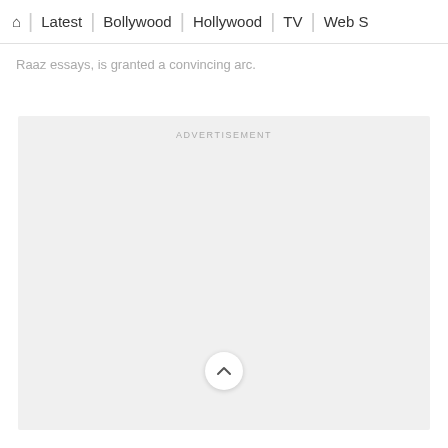🏠 | Latest | Bollywood | Hollywood | TV | Web S
Raaz essays, is granted a convincing arc.
[Figure (other): Advertisement placeholder box with light gray background and 'ADVERTISEMENT' label at top center, with a back-to-top chevron button near the bottom center]